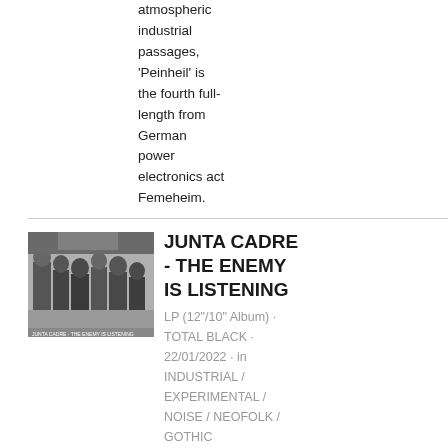atmospheric industrial passages, 'Peinheil' is the fourth full-length from German power electronics act Femeheim.
[Figure (photo): Black and white photograph of a group of military officers and officials seated together, appears to be a historical wartime meeting.]
JUNTA CADRE - THE ENEMY IS LISTENING
LP (12"/10" Album) · TOTAL BLACK · 22/01/2022 · in INDUSTRIAL / EXPERIMENTAL / NOISE / NEOFOLK / GOTHIC
Following the red thread of